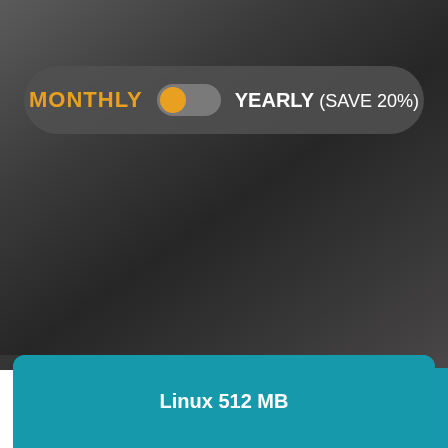[Figure (screenshot): Toggle switch UI showing MONTHLY (active, orange) and YEARLY (SAVE 20%) options on a dark rounded bar]
Linux 512 MB
[Figure (illustration): Tux the Linux penguin mascot in white outline style on teal background]
$ 5.99
/MO (billed semiannually)